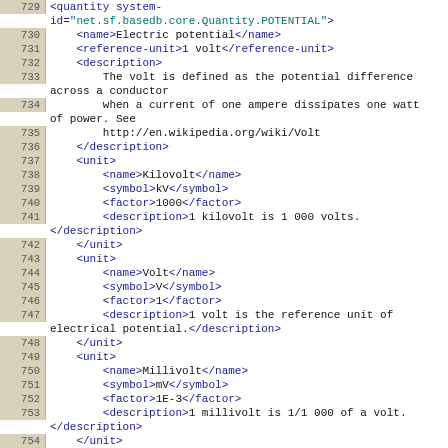[Figure (screenshot): Source code viewer showing XML content lines 729-755 defining quantity elements for electric potential units including Kilovolt, Volt, and Millivolt with names, symbols, factors, and descriptions.]